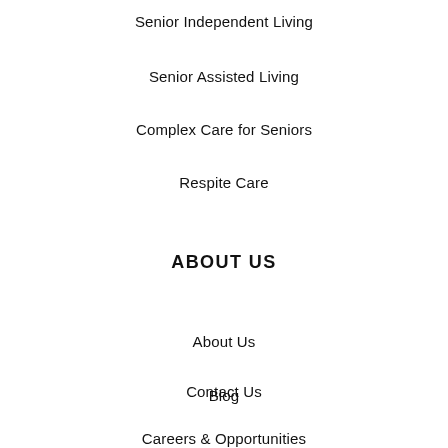Senior Independent Living
Senior Assisted Living
Complex Care for Seniors
Respite Care
ABOUT US
About Us
Contact Us
Blog
Careers & Opportunities